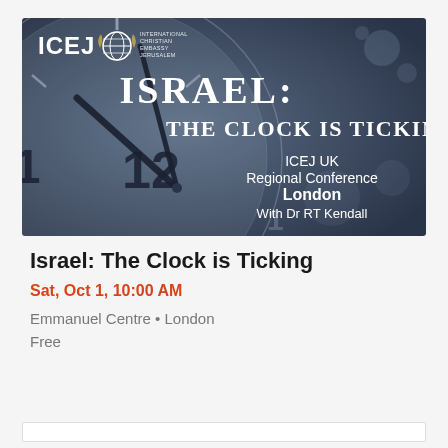[Figure (illustration): ICEJ banner image with dark blue/grey background showing a large clock face. Text reads 'ISRAEL: THE CLOCK IS TICKING' in large letters, 'ICEJ UK Regional Conference London With Dr RT Kendall' on the right side. ICEJ globe logo and text 'INTERNATIONAL CHRISTIAN EMBASSY JERUSALEM' in top left.]
Israel: The Clock is Ticking
Sat, Oct 1, 10:00 AM
Emmanuel Centre • London
Free